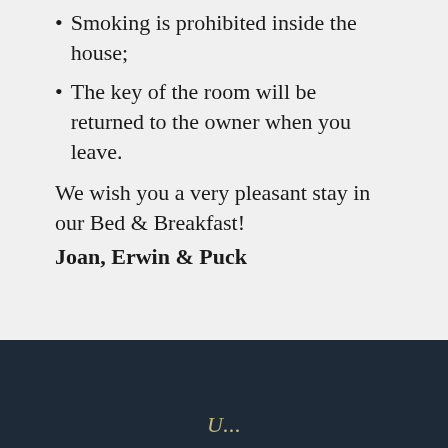Smoking is prohibited inside the house;
The key of the room will be returned to the owner when you leave.
We wish you a very pleasant stay in our Bed & Breakfast!
Joan, Erwin & Puck
U...